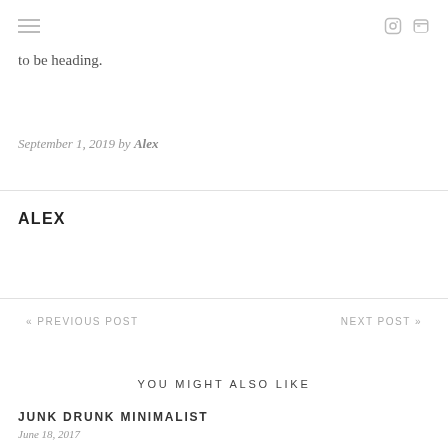≡  [instagram icon] [rss icon]
to be heading.
September 1, 2019 by Alex
ALEX
« PREVIOUS POST
NEXT POST »
YOU MIGHT ALSO LIKE
JUNK DRUNK MINIMALIST
June 18, 2017